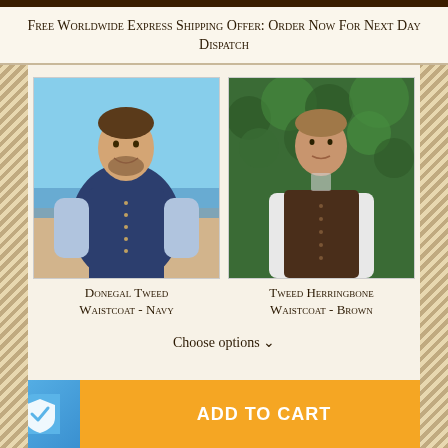Free Worldwide Express Shipping Offer: Order Now For Next Day Dispatch
[Figure (photo): Man wearing a navy Donegal Tweed waistcoat on a beach background]
Donegal Tweed Waistcoat - Navy
[Figure (photo): Man wearing a brown Tweed Herringbone waistcoat in front of hedge/foliage]
Tweed Herringbone Waistcoat - Brown
Choose options ∨
ADD TO CART